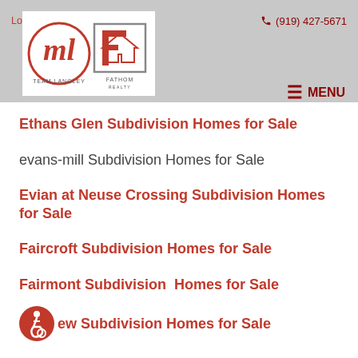Login / Register   🇺🇸 ▾   ☎ (919) 427-5671
[Figure (logo): Team Langley and Fathom Realty logos]
≡ MENU
Ethans Glen Subdivision Homes for Sale
evans-mill Subdivision Homes for Sale
Evian at Neuse Crossing Subdivision Homes for Sale
Faircroft Subdivision Homes for Sale
Fairmont Subdivision  Homes for Sale
ew Subdivision Homes for Sale